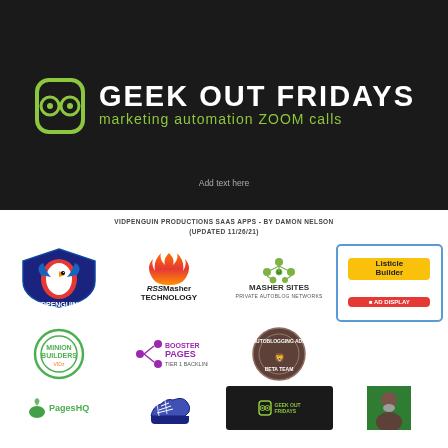[Figure (logo): Geek Out Fridays marketing automation ZOOM calls banner with dark background, green robot/glasses icon and white text logo]
Add text here
VIDPENGUIN PRODUCTIONS SAAS APPS - BY DAMON NELSON (UPDATED 11/26/21)
[Figure (logo): VidPenguin 2 logo - bird with cape]
[Figure (logo): RSSMasher Technology logo - orange flame]
[Figure (logo): Masher Sites Private Autoblog Networks - green molecule dots]
[Figure (logo): Minion Builders logo - green circular tribal design]
[Figure (logo): Booster Pages Tier 1 Backlinks - purple nodes logo]
[Figure (logo): Autoblogging Ads Beta Team - circular badge]
[Figure (logo): Listicle Builder and AD Display Network - boxed logos]
[Figure (logo): PagesHQ logo - green leaf]
[Figure (logo): Blue sneaker/shoe logo]
[Figure (logo): Geek Out Fridays small logo]
[Figure (photo): Person portrait photo - man with gray beard]